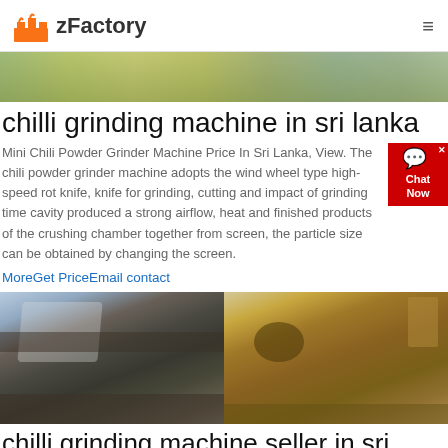zFactory
[Figure (photo): Partial view of industrial machinery, yellowish-green tones]
chilli grinding machine in sri lanka
Mini Chili Powder Grinder Machine Price In Sri Lanka, View. The chili powder grinder machine adopts the wind wheel type high-speed rot knife, knife for grinding, cutting and impact of grinding time cavity produced a strong airflow, heat and finished products of the crushing chamber together from screen, the particle size can be obtained by changing the screen.
MoreGet PriceEmail contact
[Figure (photo): Two industrial mining/crushing machines side by side — left is a white tracked crusher, right is a tan/desert-colored tracked machine]
chilli grinding machine seller in sri lanka
Oct 19 2019 Chilli grinding machine with wheels and disc cutters for ...